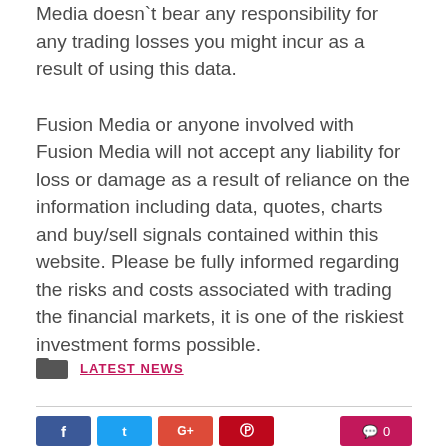Media doesn`t bear any responsibility for any trading losses you might incur as a result of using this data.
Fusion Media or anyone involved with Fusion Media will not accept any liability for loss or damage as a result of reliance on the information including data, quotes, charts and buy/sell signals contained within this website. Please be fully informed regarding the risks and costs associated with trading the financial markets, it is one of the riskiest investment forms possible.
LATEST NEWS
f  t  G+  p  0